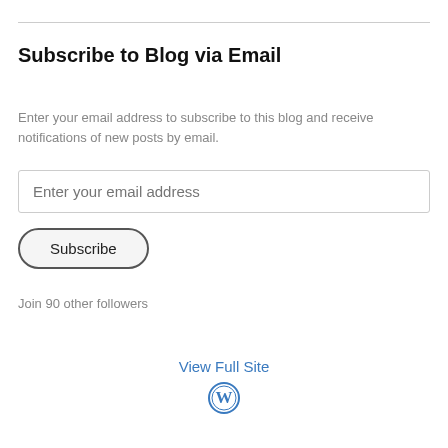Subscribe to Blog via Email
Enter your email address to subscribe to this blog and receive notifications of new posts by email.
Enter your email address
Subscribe
Join 90 other followers
View Full Site
[Figure (logo): WordPress logo icon in blue]